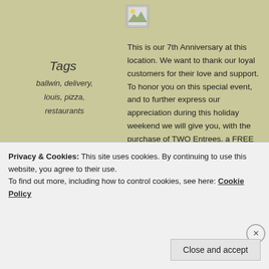[Figure (illustration): Small thumbnail image placeholder with landscape icon]
Tags
ballwin, delivery, louis, pizza, restaurants
This is our 7th Anniversary at this location. We want to thank our loyal customers for their love and support. To honor you on this special event, and to further express our appreciation during this holiday weekend we will give you, with the purchase of TWO Entrees, a FREE order of our Toasted Ravioli. Hope to see you soon!
http://www.restaurants-stlouismo.com
25
Wednesday
Join Us for Party on
Privacy & Cookies: This site uses cookies. By continuing to use this website, you agree to their use.
To find out more, including how to control cookies, see here: Cookie Policy
Close and accept